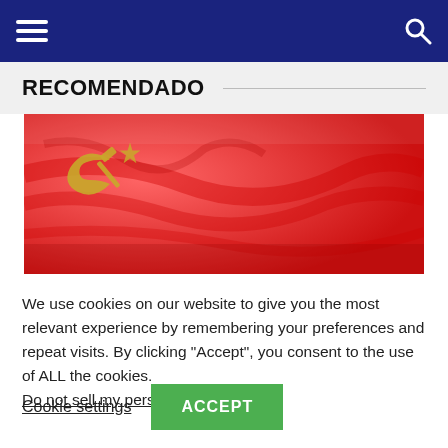Navigation bar with hamburger menu and search icon
RECOMENDADO
[Figure (photo): Close-up photograph of a wrinkled red flag with a gold hammer and sickle emblem in the upper left corner.]
We use cookies on our website to give you the most relevant experience by remembering your preferences and repeat visits. By clicking “Accept”, you consent to the use of ALL the cookies.
Do not sell my personal information.
Cookie settings  ACCEPT